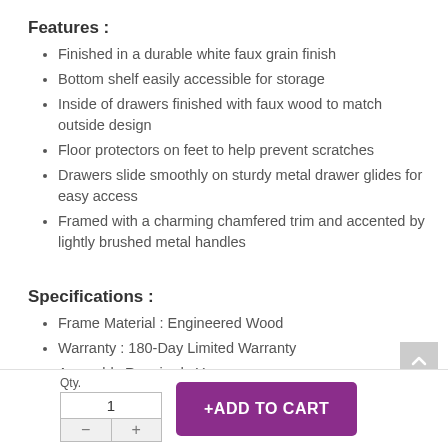Features :
Finished in a durable white faux grain finish
Bottom shelf easily accessible for storage
Inside of drawers finished with faux wood to match outside design
Floor protectors on feet to help prevent scratches
Drawers slide smoothly on sturdy metal drawer glides for easy access
Framed with a charming chamfered trim and accented by lightly brushed metal handles
Specifications :
Frame Material : Engineered Wood
Warranty : 180-Day Limited Warranty
Assembly Required : Yes